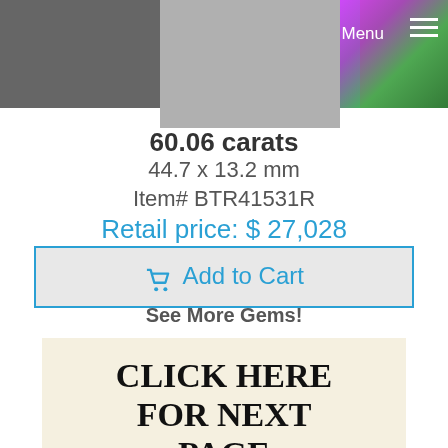Menu (navigation bar with cart icon and menu icon)
[Figure (photo): Decorative gem/jewelry website header art showing colorful blue, purple, and green artistic imagery; partially visible gem image placeholder (gray box)]
60.06 carats
44.7 x 13.2 mm
Item# BTR41531R
Retail price: $ 27,028
Add to Cart
See More Gems!
[Figure (screenshot): Cream/beige banner image with bold serif text reading CLICK HERE FOR NEXT PAGE]